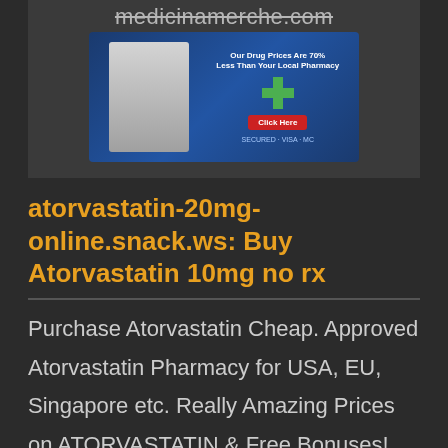[Figure (screenshot): Pharmacy advertisement banner showing a doctor image and a blue promotional graphic with a cross symbol and 'Click Here' button, with site URL 'medicinamerche.com' at top]
atorvastatin-20mg-online.snack.ws: Buy Atorvastatin 10mg no rx
Purchase Atorvastatin Cheap. Approved Atorvastatin Pharmacy for USA, EU, Singapore etc. Really Amazing Prices on ATORVASTATIN &amp; Free Bonuses! No Prescription! BUY CHEAP Atorvastatin HERE -&gt; ENTER PHARMACY it is very likely we'll continue to approach (or relate to) that situation in a way